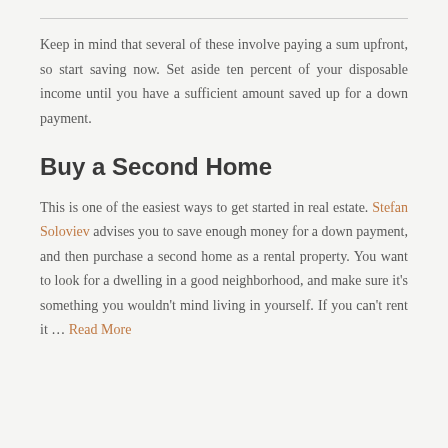Keep in mind that several of these involve paying a sum upfront, so start saving now. Set aside ten percent of your disposable income until you have a sufficient amount saved up for a down payment.
Buy a Second Home
This is one of the easiest ways to get started in real estate. Stefan Soloviev advises you to save enough money for a down payment, and then purchase a second home as a rental property. You want to look for a dwelling in a good neighborhood, and make sure it's something you wouldn't mind living in yourself. If you can't rent it … Read More